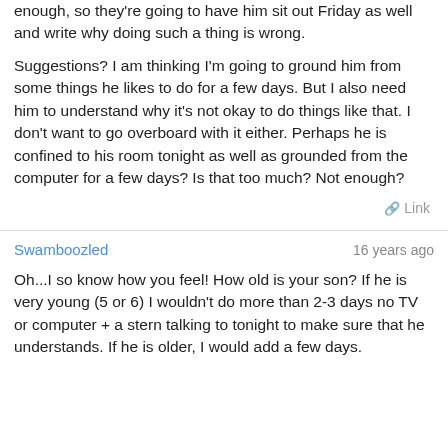enough, so they're going to have him sit out Friday as well and write why doing such a thing is wrong.
Suggestions? I am thinking I'm going to ground him from some things he likes to do for a few days. But I also need him to understand why it's not okay to do things like that. I don't want to go overboard with it either. Perhaps he is confined to his room tonight as well as grounded from the computer for a few days? Is that too much? Not enough?
Swamboozled
16 years ago
Oh...I so know how you feel! How old is your son? If he is very young (5 or 6) I wouldn't do more than 2-3 days no TV or computer + a stern talking to tonight to make sure that he understands. If he is older, I would add a few days.